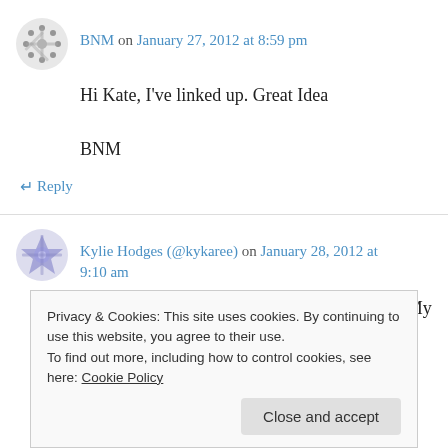BNM on January 27, 2012 at 8:59 pm
Hi Kate, I've linked up. Great Idea

BNM
↵ Reply
Kylie Hodges (@kykaree) on January 28, 2012 at 9:10 am
I've blogged, apologies, a swear word got in. My
Privacy & Cookies: This site uses cookies. By continuing to use this website, you agree to their use.
To find out more, including how to control cookies, see here: Cookie Policy
Close and accept